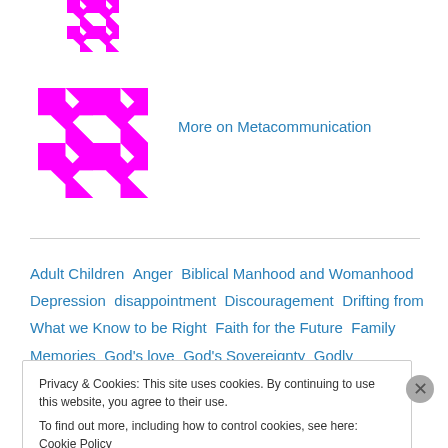[Figure (illustration): Pink and white quilt/geometric pattern tile (small, partially visible at top)]
[Figure (illustration): Pink and white quilt/geometric star pattern tile (larger, square)]
More on Metacommunication
Adult Children  Anger  Biblical Manhood and Womanhood  Depression  disappointment  Discouragement  Drifting from What we Know to be Right  Faith for the Future  Family Memories  God's love  God's Sovereignty  Godly Womanhood  Grandparenting
Privacy & Cookies: This site uses cookies. By continuing to use this website, you agree to their use. To find out more, including how to control cookies, see here: Cookie Policy
Close and accept